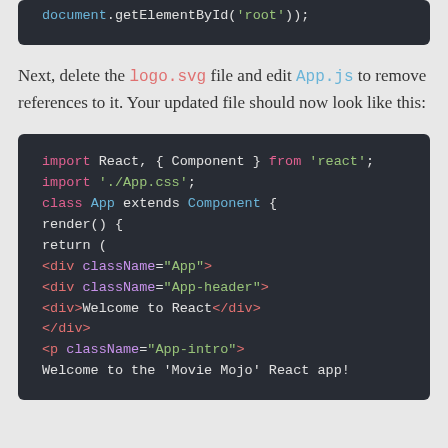[Figure (screenshot): Code block showing partial JavaScript: document.getElementById('root'));]
Next, delete the logo.svg file and edit App.js to remove references to it. Your updated file should now look like this:
[Figure (screenshot): Code block showing React App.js with imports, class App extends Component, render(), return, JSX divs with className App, App-header, Welcome to React, closing div, p className App-intro, Welcome to the 'Movie Mojo' React app!]